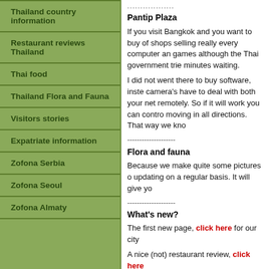Thailand country information
Restaurant reviews Thailand
Thai food
Thailand Flora and Fauna
Visitors stories
Expatriate information
Zofona Serbia
Zofona Seoul
Zofona Almaty
..................
Pantip Plaza
If you visit Bangkok and you want to buy of shops selling really every computer an games although the Thai government trie minutes waiting.
I did not went there to buy software, inste camera's have to deal with both your net remotely. So if it will work you can contro moving in all directions. That way we kno
--------------------
Flora and fauna
Because we make quite some pictures o updating on a regular basis. It will give yo
--------------------
What's new?
The first new page, click here for our city
A nice (not) restaurant review, click here
And the last page for today, click here to
(posted by Jitze, 09/01/11)
--------------------
Crabs in Krabi
There are several things which I have to because we are collecting plenty of pictu youtube video about Crabs in Krabi